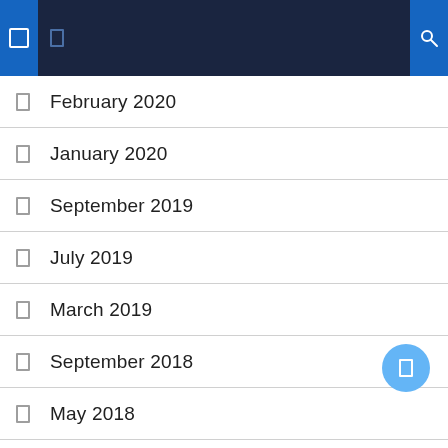Navigation header bar
February 2020
January 2020
September 2019
July 2019
March 2019
September 2018
May 2018
April 2018
March 2018
October 2017